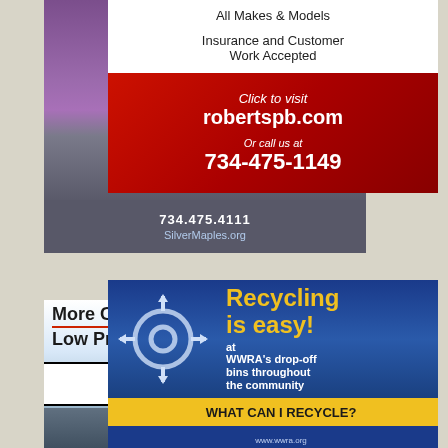[Figure (illustration): Silver Maples senior living advertisement with purple background, white maple leaf graphic, italic text 'Join Our VIP Wait List Today!', phone number 734.475.4111 and website SilverMaples.org on gray background]
[Figure (illustration): Heydlauff's Appliances advertisement with text 'More Choices', 'Low Prices', 'Outstanding Service', 'for over 86 years', showing appliances images, store name and Grand Source badge]
[Figure (illustration): Roberts PB auto body advertisement showing 'All Makes & Models', 'Insurance and Customer Work Accepted', red section with 'Click to visit robertspb.com', 'Or call us at 734-475-1149']
[Figure (illustration): WWRA Recycling advertisement with blue background, recycling crosshair symbol, yellow text 'Recycling is easy!', white text 'at WWRA's drop-off bins throughout the community', yellow bar 'WHAT CAN I RECYCLE?']